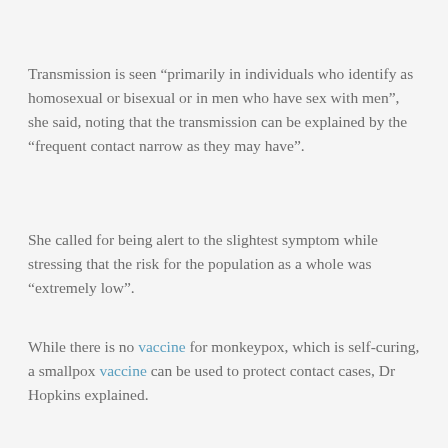Transmission is seen “primarily in individuals who identify as homosexual or bisexual or in men who have sex with men”, she said, noting that the transmission can be explained by the “frequent contact narrow as they may have”.
She called for being alert to the slightest symptom while stressing that the risk for the population as a whole was “extremely low”.
While there is no vaccine for monkeypox, which is self-curing, a smallpox vaccine can be used to protect contact cases, Dr Hopkins explained.